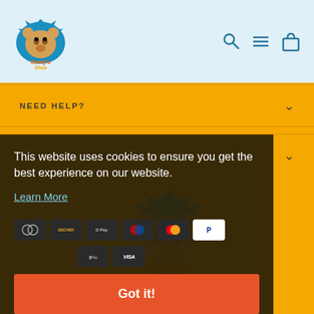[Figure (logo): Sooty's Shop logo — colorful cartoon bear head with text 'Sooty's Shop' on blue splat background]
[Figure (infographic): Header icons: search magnifier, hamburger menu, shopping bag — all in teal/blue]
NEED HELP?
JOIN THE SOOTY SHOP
[Figure (logo): Sooty's Shop large watermark logo centered on yellow background]
This website uses cookies to ensure you get the best experience on our website.
Learn More
[Figure (infographic): Payment method icons: Diners Club, Discover, Google Pay, Maestro, Mastercard, PayPal, Apple Pay, Visa]
Got it!
© 2022 Sooty's Shop
SootyShow ® Cadells Ltd / Entertainment Ltd 2003.